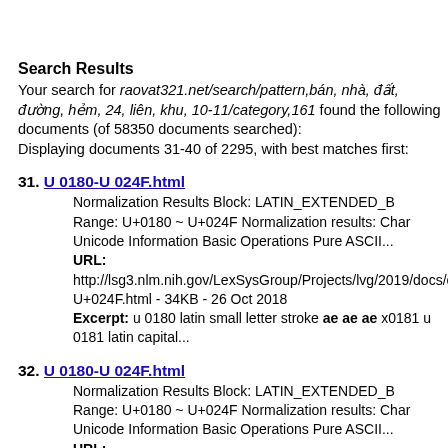Search Results
Your search for raovat321.net/search/pattern,bán, nhà, đất, đường, hẻm, 24, liên, khu, 10-11/category,161 found the following documents (of 58350 documents searched):
Displaying documents 31-40 of 2295, with best matches first:
31. U 0180-U 024F.html
Normalization Results Block: LATIN_EXTENDED_B Range: U+0180 ~ U+024F Normalization results: Char Unicode Information Basic Operations Pure ASCII...
URL:
http://lsg3.nlm.nih.gov/LexSysGroup/Projects/lvg/2019/docs/c U+024F.html - 34KB - 26 Oct 2018
Excerpt: u 0180 latin small letter stroke ae ae ae x0181 u 0181 latin capital...
32. U 0180-U 024F.html
Normalization Results Block: LATIN_EXTENDED_B Range: U+0180 ~ U+024F Normalization results: Char Unicode Information Basic Operations Pure ASCII...
URL: